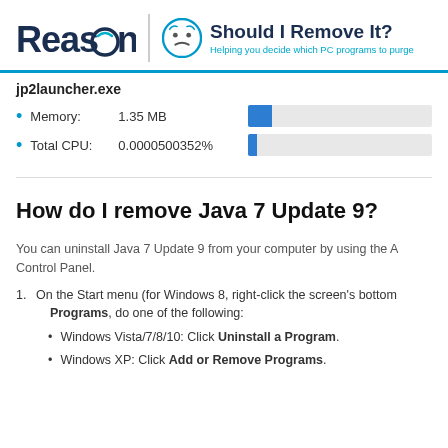Reason | Should I Remove It? Helping you decide which PC programs to purge
jp2launcher.exe
Memory: 1.35 MB
Total CPU: 0.0000500352%
How do I remove Java 7 Update 9?
You can uninstall Java 7 Update 9 from your computer by using the Add/Remove Programs feature in the Windows Control Panel.
On the Start menu (for Windows 8, right-click the screen's bottom-left corner), click Programs, do one of the following:
Windows Vista/7/8/10: Click Uninstall a Program.
Windows XP: Click Add or Remove Programs.